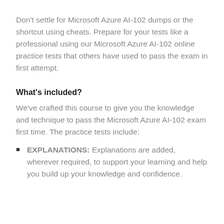Don't settle for Microsoft Azure AI-102 dumps or the shortcut using cheats. Prepare for your tests like a professional using our Microsoft Azure AI-102 online practice tests that others have used to pass the exam in first attempt.
What's included?
We've crafted this course to give you the knowledge and technique to pass the Microsoft Azure AI-102 exam first time. The practice tests include:
EXPLANATIONS: Explanations are added, wherever required, to support your learning and help you build up your knowledge and confidence.